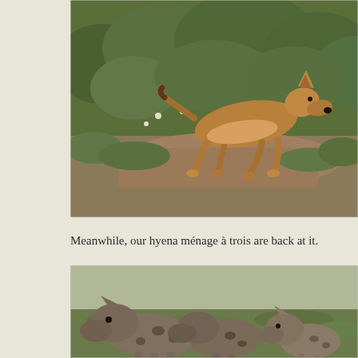[Figure (photo): A jackal or coyote-like canid running across a sandy path with green bush vegetation in the background. The animal is brown/tawny in color and is captured mid-stride.]
Meanwhile, our hyena ménage à trois are back at it.
[Figure (photo): Three spotted hyenas on a green grassy plain. Two hyenas are in the foreground appearing to interact or sniff each other, and a third hyena cub is visible to the right.]